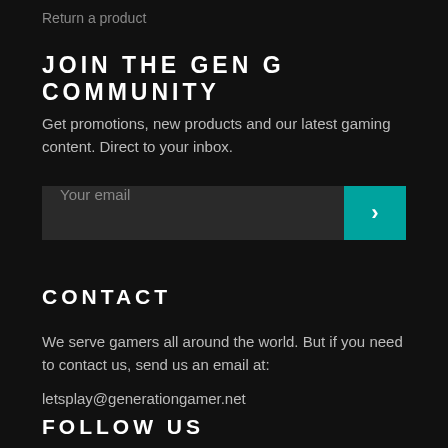Return a product
JOIN THE GEN G COMMUNITY
Get promotions, new products and our latest gaming content. Direct to your inbox.
[Figure (other): Email subscription form with input field labeled 'Your email' and a teal submit button with a right chevron arrow]
CONTACT
We serve gamers all around the world. But if you need to contact us, send us an email at:
letsplay@generationgamer.net
FOLLOW US